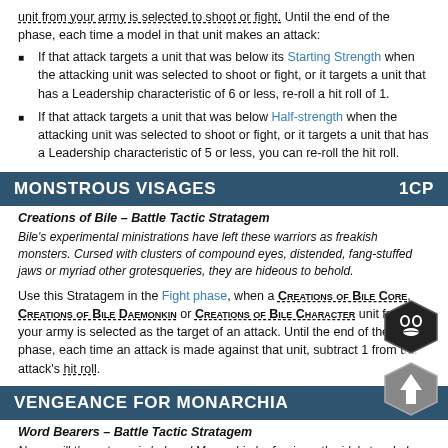...unit from your army is selected to shoot or fight. Until the end of the phase, each time a model in that unit makes an attack:
If that attack targets a unit that was below its Starting Strength when the attacking unit was selected to shoot or fight, or it targets a unit that has a Leadership characteristic of 6 or less, re-roll a hit roll of 1.
If that attack targets a unit that was below Half-strength when the attacking unit was selected to shoot or fight, or it targets a unit that has a Leadership characteristic of 5 or less, you can re-roll the hit roll.
MONSTROUS VISAGES  1CP
Creations of Bile – Battle Tactic Stratagem
Bile's experimental ministrations have left these warriors as freakish monsters. Cursed with clusters of compound eyes, distended, fang-stuffed jaws or myriad other grotesqueries, they are hideous to behold.
Use this Stratagem in the Fight phase, when a CREATIONS OF BILE CORE, CREATIONS OF BILE DAEMONKIN or CREATIONS OF BILE CHARACTER unit from your army is selected as the target of an attack. Until the end of the phase, each time an attack is made against that unit, subtract 1 from the attack's hit roll.
VENGEANCE FOR MONARCHIA  1CP
Word Bearers – Battle Tactic Stratagem
Never will the outrage in beloved Monarchia be forgiven; the idols toppled